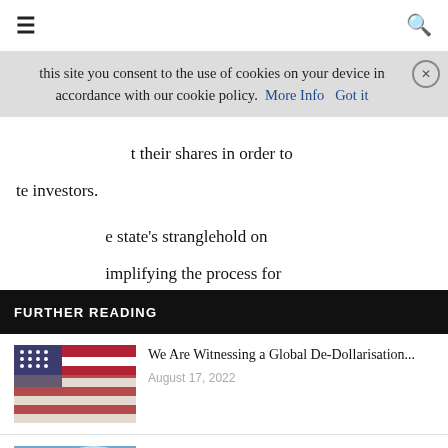≡  [navigation bar]  🔍
this site you consent to the use of cookies on your device in accordance with our cookie policy.  More Info   Got it
their shares in order to te investors.
FURTHER READING
[Figure (photo): US flag with hands]
We Are Witnessing a Global De-Dollarisation...
August 17, 2022
[Figure (photo): Chinese city skyline]
Small Chinese Lenders under Pressure as...
August 15, 2022
[Figure (photo): Bridge at sunset, Germany]
Germany on the Brink of Recession...
August 9, 2022
e state's stranglehold on implifying the process for na is part of an ongoing nched a pilot program that (ranging from technology five private banks in the d Tianjin and affluent d Zhejiang. China's first e-only bank is Shenzhen